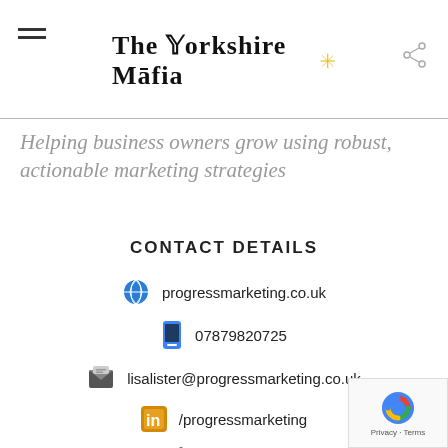The Yorkshire Mafia
Helping business owners grow using robust, actionable marketing strategies
CONTACT DETAILS
progressmarketing.co.uk
07879820725
lisalister@progressmarketing.co.uk
/progressmarketing
@lisa_lister